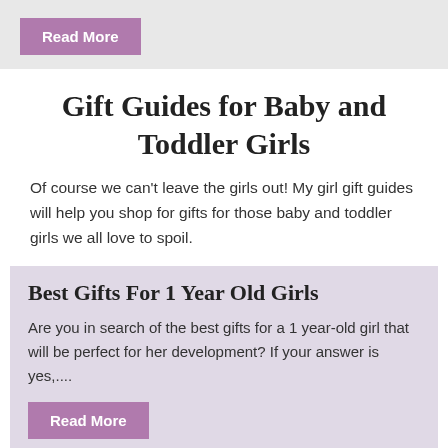[Figure (other): A purple 'Read More' button on a light gray background card]
Gift Guides for Baby and Toddler Girls
Of course we can't leave the girls out! My girl gift guides will help you shop for gifts for those baby and toddler girls we all love to spoil.
Best Gifts For 1 Year Old Girls
Are you in search of the best gifts for a 1 year-old girl that will be perfect for her development? If your answer is yes,....
[Figure (other): A purple 'Read More' button at the bottom of the card]